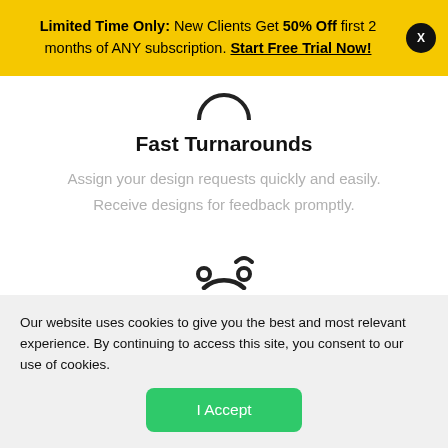Limited Time Only: New Clients Get 50% Off first 2 months of ANY subscription. Start Free Trial Now! X
[Figure (illustration): Partial icon of a clock or timer at the top of the Fast Turnarounds section]
Fast Turnarounds
Assign your design requests quickly and easily. Receive designs for feedback promptly.
[Figure (illustration): Partial icon showing a circular arrow/refresh symbol at the bottom of the page]
Our website uses cookies to give you the best and most relevant experience. By continuing to access this site, you consent to our use of cookies.